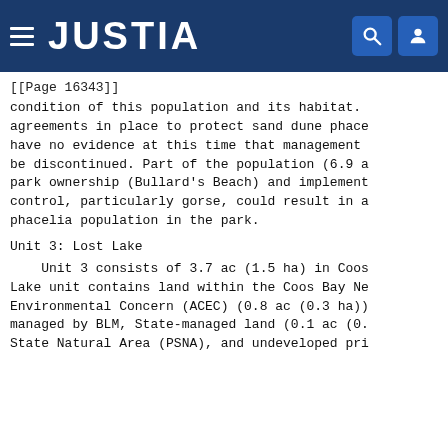JUSTIA
[[Page 16343]]
condition of this population and its habitat. agreements in place to protect sand dune phace have no evidence at this time that management be discontinued. Part of the population (6.9 a park ownership (Bullard's Beach) and implement control, particularly gorse, could result in a phacelia population in the park.
Unit 3: Lost Lake
Unit 3 consists of 3.7 ac (1.5 ha) in Coos Lake unit contains land within the Coos Bay Ne Environmental Concern (ACEC) (0.8 ac (0.3 ha)) managed by BLM, State-managed land (0.1 ac (0. State Natural Area (PSNA), and undeveloped pri